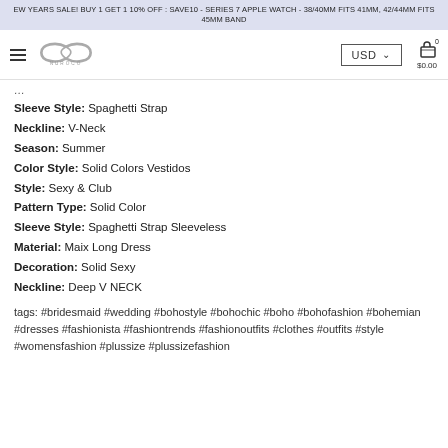EW YEARS SALE! BUY 1 GET 1 10% OFF : SAVE10 - SERIES 7 APPLE WATCH - 38/40MM FITS 41MM, 42/44MM FITS 45MM BAND
[Figure (logo): Nuroco infinity logo with hamburger menu, USD currency selector, and cart icon showing $0.00]
Sleeve Style: Spaghetti Strap
Neckline: V-Neck
Season: Summer
Color Style: Solid Colors Vestidos
Style: Sexy & Club
Pattern Type: Solid Color
Sleeve Style: Spaghetti Strap Sleeveless
Material: Maix Long Dress
Decoration: Solid Sexy
Neckline: Deep V NECK
tags: #bridesmaid #wedding #bohostyle #bohochic #boho #bohofashion #bohemian #dresses #fashionista #fashiontrends #fashionoutfits #clothes #outfits #style #womensfashion #plussize #plussizefashion